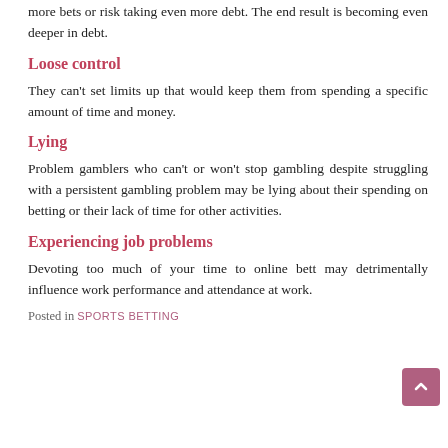more bets or risk taking even more debt. The end result is becoming even deeper in debt.
Loose control
They can't set limits up that would keep them from spending a specific amount of time and money.
Lying
Problem gamblers who can't or won't stop gambling despite struggling with a persistent gambling problem may be lying about their spending on betting or their lack of time for other activities.
Experiencing job problems
Devoting too much of your time to online bett may detrimentally influence work performance and attendance at work.
Posted in SPORTS BETTING